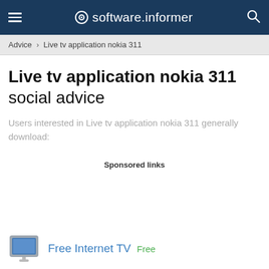software.informer
Advice › Live tv application nokia 311
Live tv application nokia 311 social advice
Users interested in Live tv application nokia 311 generally download:
Sponsored links
Free Internet TV   Free